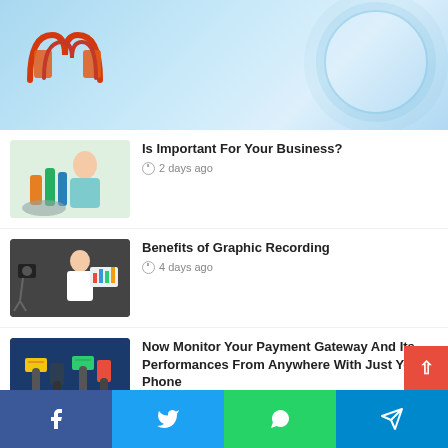[Figure (logo): Masstamilan logo with stylized M icon in red and orange, with text MASSTAMILAN in red below]
Is Important For Your Business?
2 days ago
Benefits of Graphic Recording
4 days ago
Now Monitor Your Payment Gateway And Its Performances From Anywhere With Just Your Phone
6 days ago
Does Good Mattress Help Better Sleep?
6 days ago